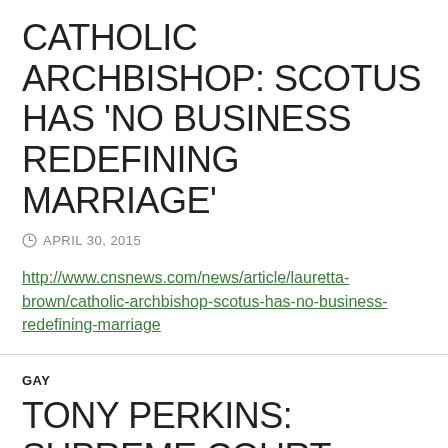CATHOLIC ARCHBISHOP: SCOTUS HAS 'NO BUSINESS REDEFINING MARRIAGE'
APRIL 30, 2015
http://www.cnsnews.com/news/article/lauretta-brown/catholic-archbishop-scotus-has-no-business-redefining-marriage
GAY
TONY PERKINS: SUPREME COURT WON'T SETTLE